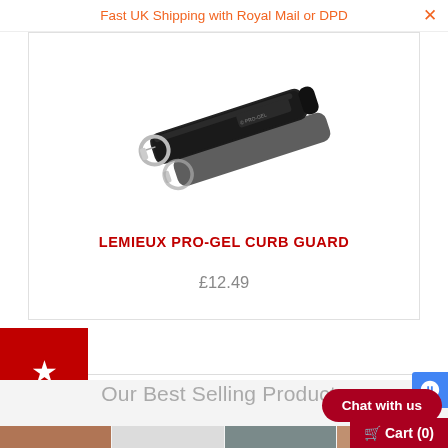Fast UK Shipping with Royal Mail or DPD
[Figure (photo): LeMieux Pro-Gel curb guard product image — black padded leather wrap with silver clip/hook, on white background]
LEMIEUX PRO-GEL CURB GUARD
£12.49
[Figure (logo): Red square badge with white star icon]
Our Best Selling Products
[Figure (photo): Four product thumbnail images at bottom of page]
Chat with us
Cart (0)